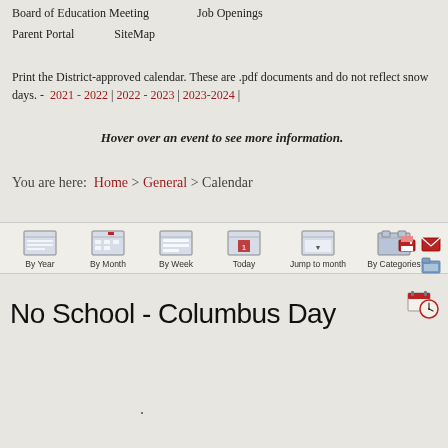Board of Education Meeting    Job Openings
Parent Portal    SiteMap
Print the District-approved calendar. These are .pdf documents and do not reflect snow days. - 2021 - 2022 | 2022 - 2023 | 2023-2024 |
Hover over an event to see more information.
You are here:  Home > General > Calendar
[Figure (screenshot): Calendar navigation toolbar with icons: By Year, By Month, By Week, Today, Jump to month, By Categories, and utility icons (print, email, folder) on the right.]
No School - Columbus Day
.